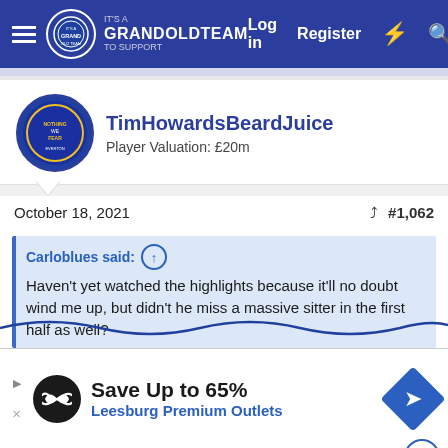GrandOldTeam | Log in | Register
TimHowardsBeardJuice
Player Valuation: £20m
October 18, 2021  #1,062
Carloblues said: ↑
Haven't yet watched the highlights because it'll no doubt wind me up, but didn't he miss a massive sitter in the first half as well?
Oh lord, you have no idea.
This is from the Guardian's minute by minute:
28 min Aaaarrrgghhh! Gray isolates Ogbonna out wide, shimmies inside then skips outside – that was far too easy... back for Iwobi, only for the...
[Figure (screenshot): Advertisement banner: Save Up to 65% Leesburg Premium Outlets]